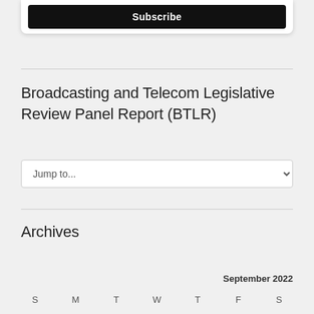[Figure (screenshot): Subscribe button in a white rounded card at top of page]
Broadcasting and Telecom Legislative Review Panel Report (BTLR)
Jump to...
Archives
September 2022
| S | M | T | W | T | F | S |
| --- | --- | --- | --- | --- | --- | --- |